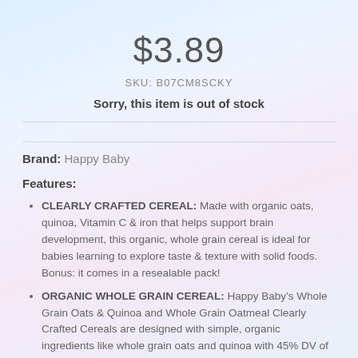$3.89
SKU: B07CM8SCKY
Sorry, this item is out of stock
Brand: Happy Baby
Features:
CLEARLY CRAFTED CEREAL: Made with organic oats, quinoa, Vitamin C & iron that helps support brain development, this organic, whole grain cereal is ideal for babies learning to explore taste & texture with solid foods. Bonus: it comes in a resealable pack!
ORGANIC WHOLE GRAIN CEREAL: Happy Baby’s Whole Grain Oats & Quinoa and Whole Grain Oatmeal Clearly Crafted Cereals are designed with simple, organic ingredients like whole grain oats and quinoa with 45% DV of iron to help support baby’s brain